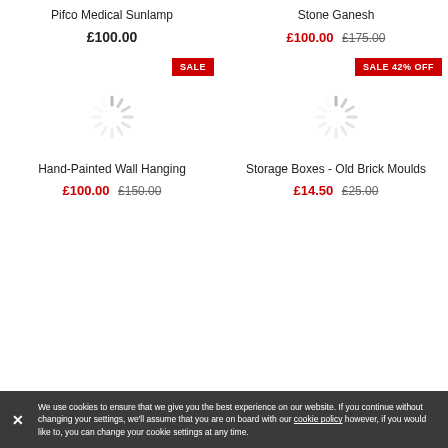Pifco Medical Sunlamp
£100.00
Stone Ganesh
£100.00  £175.00
[Figure (other): Loading spinner / image placeholder for SALE item]
[Figure (other): Loading spinner / image placeholder for SALE 42% OFF item]
Hand-Painted Wall Hanging
£100.00  £150.00
Storage Boxes - Old Brick Moulds
£14.50  £25.00
We use cookies to ensure that we give you the best experience on our website. If you continue without changing your settings, we'll assume that you are on board with our cookie policy however, if you would like to, you can change your cookie settings at any time.